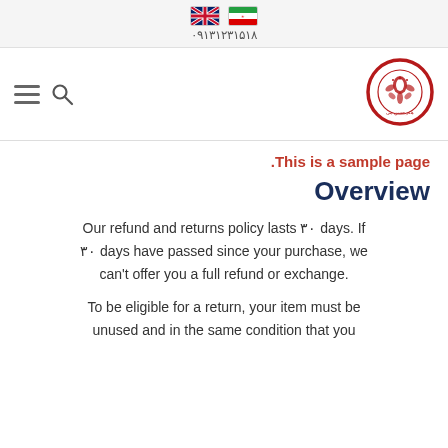🇬🇧 🇮🇷
۰۹۱۳۱۲۳۱۵۱۸
[Figure (logo): Circular red logo with ornate Persian/floral design in the center and Persian text around the border]
.This is a sample page
Overview
Our refund and returns policy lasts ۳۰ days. If ۳۰ days have passed since your purchase, we can't offer you a full refund or exchange.
To be eligible for a return, your item must be unused and in the same condition that you